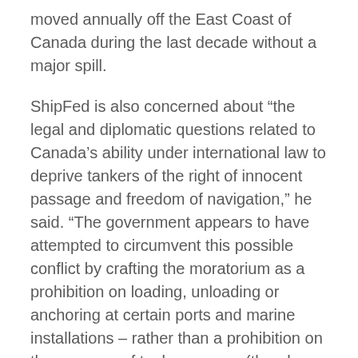moved annually off the East Coast of Canada during the last decade without a major spill.
ShipFed is also concerned about "the legal and diplomatic questions related to Canada's ability under international law to deprive tankers of the right of innocent passage and freedom of navigation," he said. "The government appears to have attempted to circumvent this possible conflict by crafting the moratorium as a prohibition on loading, unloading or anchoring at certain ports and marine installations – rather than a prohibition on the passage of tankers per se (thereby using the back door to accomplish what could not be done through the front door).
Under the Law of the Sea, coastal states can "designate particularly sensitive areas, in which they can apply stricter measures (such as areas to be avoided or routing requirements) after having